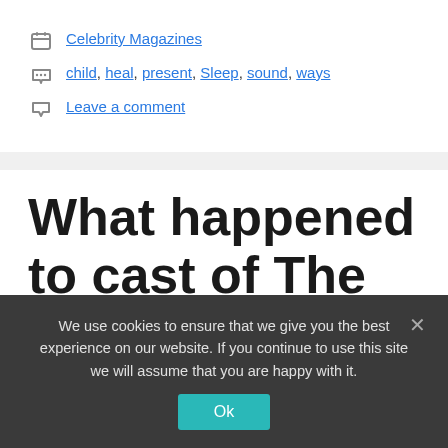Celebrity Magazines
child, heal, present, Sleep, sound, ways
Leave a comment
What happened to cast of The Royle Family – from starring
We use cookies to ensure that we give you the best experience on our website. If you continue to use this site we will assume that you are happy with it.